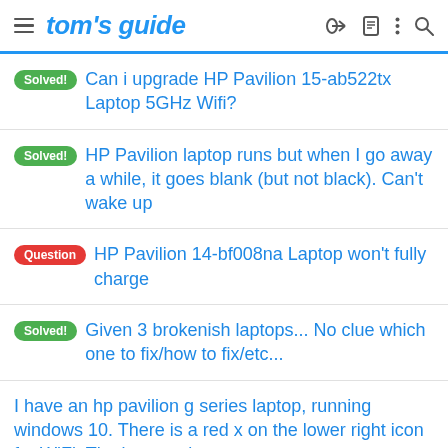tom's guide
Solved! Can i upgrade HP Pavilion 15-ab522tx Laptop 5GHz Wifi?
Solved! HP Pavilion laptop runs but when I go away a while, it goes blank (but not black). Can't wake up
Question HP Pavilion 14-bf008na Laptop won't fully charge
Solved! Given 3 brokenish laptops... No clue which one to fix/how to fix/etc...
I have an hp pavilion g series laptop, running windows 10. There is a red x on the lower right icon for WiFi. That's my only